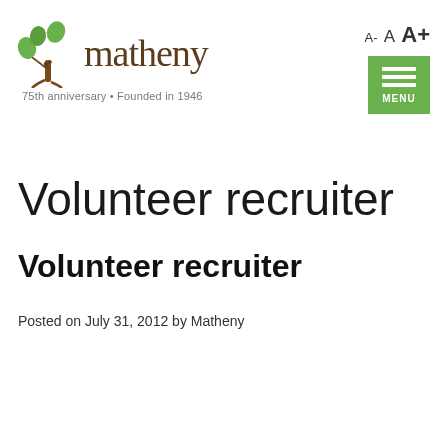[Figure (logo): Matheny logo with tree graphic and text 'matheny', tagline '75th anniversary • Founded in 1946']
[Figure (other): Font size controls: A- A A+]
[Figure (other): Green hamburger menu button with three bars and MENU label]
Volunteer recruiter
Volunteer recruiter
Posted on July 31, 2012 by Matheny